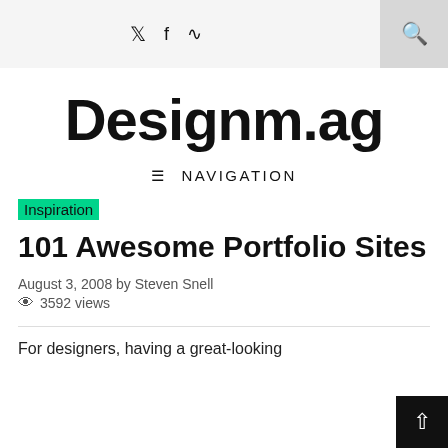Twitter Facebook RSS | Search
Designm.ag
≡ NAVIGATION
Inspiration
101 Awesome Portfolio Sites
August 3, 2008 by Steven Snell
👁 3592 views
For designers, having a great-looking